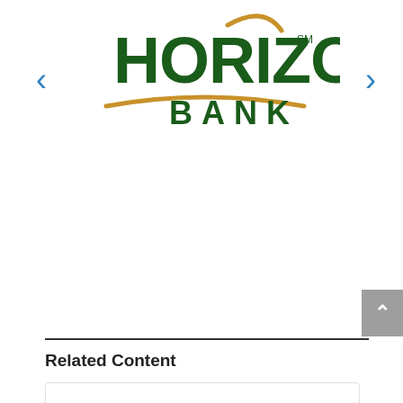[Figure (logo): Horizon Bank logo with dark green bold HORIZON text, orange arc swoosh above and underline below, and BANK text beneath in dark green capital letters with SM trademark symbol]
Related Content
THE INDIANA FOOTBALL